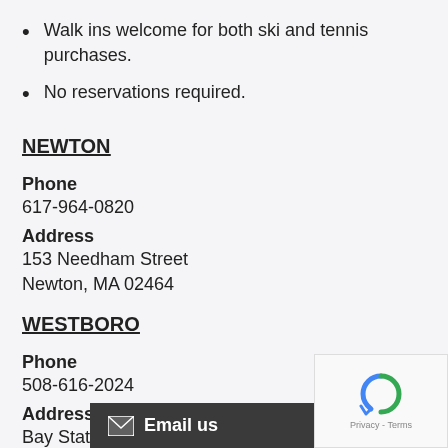Walk ins welcome for both ski and tennis purchases.
No reservations required.
NEWTON
Phone
617-964-0820
Address
153 Needham Street
Newton, MA 02464
WESTBORO
Phone
508-616-2024
Address
Bay State Commons,